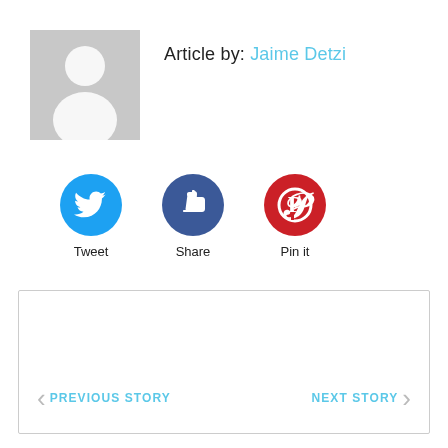[Figure (illustration): Gray placeholder avatar image showing silhouette of a person on gray background]
Article by: Jaime Detzi
[Figure (infographic): Three social sharing buttons: Twitter (Tweet), Facebook (Share), Pinterest (Pin it)]
Tweet
Share
Pin it
PREVIOUS STORY
NEXT STORY